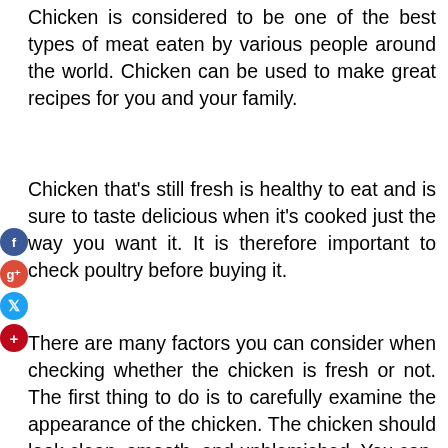Chicken is considered to be one of the best types of meat eaten by various people around the world. Chicken can be used to make great recipes for you and your family.
Chicken that's still fresh is healthy to eat and is sure to taste delicious when it's cooked just the way you want it. It is therefore important to check poultry before buying it.
There are many factors you can consider when checking whether the chicken is fresh or not. The first thing to do is to carefully examine the appearance of the chicken. The chicken should look clean, smooth, and unblemished. You can